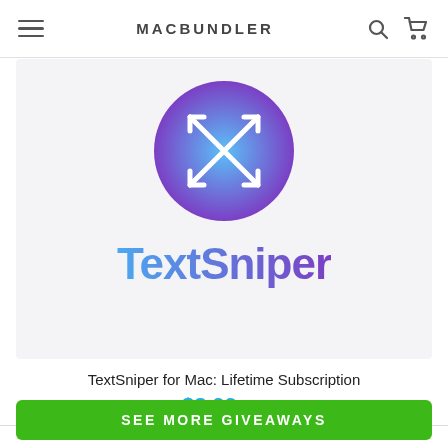MACBUNDLER
[Figure (logo): TextSniper app logo: circular gradient icon (blue to purple) with crosshair-style arrows symbol, followed by bold gradient text 'TextSniper']
TextSniper for Mac: Lifetime Subscription
$3.99  $6
SEE MORE GIVEAWAYS